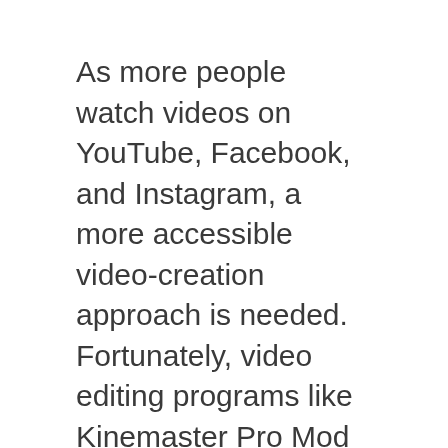As more people watch videos on YouTube, Facebook, and Instagram, a more accessible video-creation approach is needed. Fortunately, video editing programs like Kinemaster Pro Mod Apk have made the process easier. This is for people who are always on the go and want to make memories. Keep reading to find out if this is right for you!
Kinemaster Pro Mod Apk was first released for Android in October 2013 and quickly became one of the most popular video editing apps in the world. It competes with Adobe Premiere Rush, GoPro App, iMovie, Filmorago and other programs. In other areas, however, it is fair to say that it is